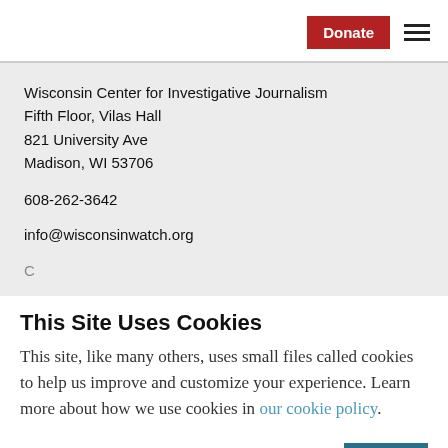Donate [button] ☰ [menu]
Wisconsin Center for Investigative Journalism
Fifth Floor, Vilas Hall
821 University Ave
Madison, WI 53706

608-262-3642

info@wisconsinwatch.org
This Site Uses Cookies
This site, like many others, uses small files called cookies to help us improve and customize your experience. Learn more about how we use cookies in our cookie policy.